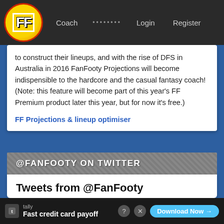FF Coach ········ Login Register
to construct their lineups, and with the rise of DFS in Australia in 2016 FanFooty Projections will become indispensible to the hardcore and the casual fantasy coach! (Note: this feature will become part of this year's FF Premium product later this year, but for now it's free.)
FF Projections & lineup optimiser
@FANFOOTY ON TWITTER
Tweets from @FanFooty
FanFooty @FanFooty · Aug 21
That concludes our coverage of the 2022 AFL home & away season. We will of course be back for finals,
Fast credit card payoff  Download Now →